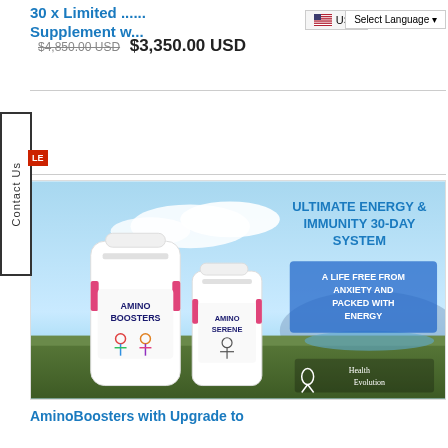30x Limited ... Supplement w...
$4,850.00 USD $3,350.00 USD
[Figure (photo): Advertisement image for 'Ultimate Energy & Immunity 30-Day System' featuring two supplement bottles (AminoBoosters and Amino Serene) against a scenic outdoor background with sky, with tagline 'A life free from anxiety and packed with energy' and Health Evolution logo.]
AminoBoosters with Upgrade to